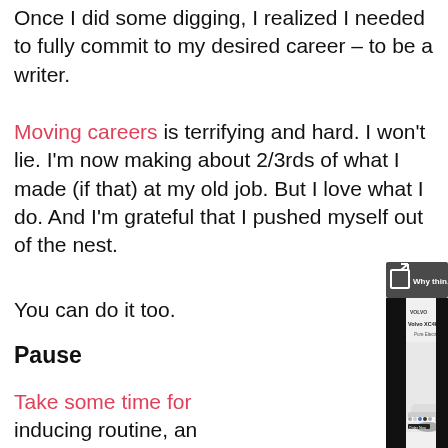Once I did some digging, I realized I needed to fully commit to my desired career – to be a writer.
Moving careers is terrifying and hard. I won't lie. I'm now making about 2/3rds of what I made (if that) at my old job. But I love what I do. And I'm grateful that I pushed myself out of the nest.
You can do it too.
Pause
Take some time for [obscured by ad] inducing routine, an[obscured] retreat. It could be a[obscured] could be a walk through town on your own. It could be a trip to a spa.
[Figure (screenshot): An advertisement overlay showing a browser popup with title 'Why thinking for yourself is esse...' and a Volvo XC40 Recharge Pure Electric car advertisement beneath it.]